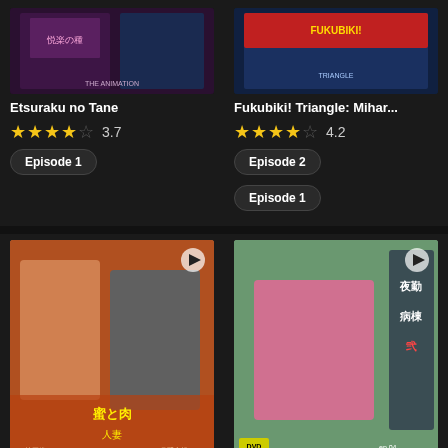[Figure (illustration): Anime hentai cover art for Etsuraku no Tane - THE ANIMATION]
Etsuraku no Tane
3.7 stars rating
Episode 1
[Figure (illustration): Anime cover art for Fukubiki! Triangle: Mihar...]
Fukubiki! Triangle: Mihar...
4.2 stars rating
Episode 2
Episode 1
[Figure (illustration): Manga/anime cover art for Hitozuma Mitsu to Niku - featuring two women]
Hitozuma Mitsu to Niku
[Figure (illustration): Anime cover art for Night Shift Nurses 2 - featuring anime nurse character]
Night Shift Nurses 2